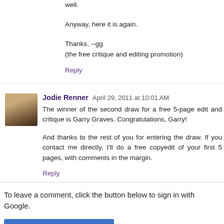Hey Jodie, count me in. Have emailed my request to you as well.
Anyway, here it is again.
Thanks, --gg
(the free critique and editing promotion)
Reply
Jodie Renner  April 29, 2011 at 10:01 AM
The winner of the second draw for a free 5-page edit and critique is Garry Graves. Congratulations, Garry!
And thanks to the rest of you for entering the draw. If you contact me directly, I'll do a free copyedit of your first 5 pages, with comments in the margin.
Reply
To leave a comment, click the button below to sign in with Google.